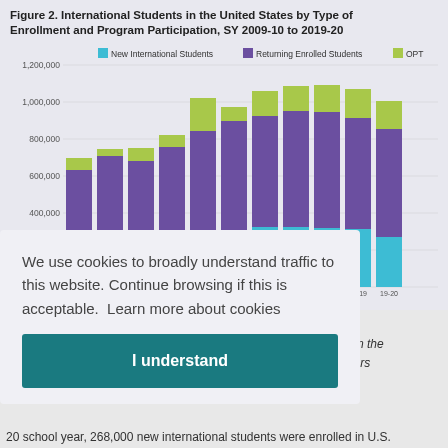Figure 2. International Students in the United States by Type of Enrollment and Program Participation, SY 2009-10 to 2019-20
[Figure (stacked-bar-chart): International Students in the United States by Type of Enrollment and Program Participation, SY 2009-10 to 2019-20]
We use cookies to broadly understand traffic to this website. Continue browsing if this is acceptable.  Learn more about cookies
I understand
om the oors
20 school year, 268,000 new international students were enrolled in U.S.